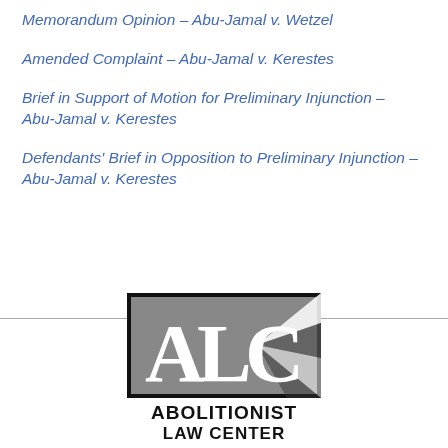Memorandum Opinion – Abu-Jamal v. Wetzel
Amended Complaint – Abu-Jamal v. Kerestes
Brief in Support of Motion for Preliminary Injunction – Abu-Jamal v. Kerestes
Defendants' Brief in Opposition to Preliminary Injunction – Abu-Jamal v. Kerestes
[Figure (logo): Abolitionist Law Center logo: ALC letters in bold serif font on a gray rectangle with a lighthouse beam graphic, with 'ABOLITIONIST LAW CENTER' text below]